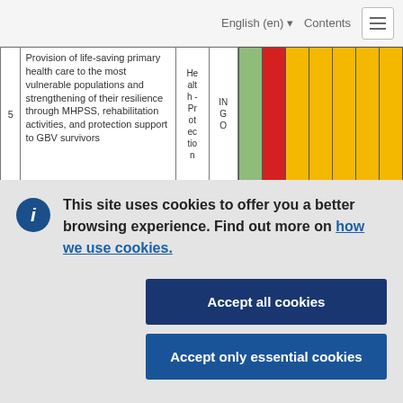English (en) ▾   Contents   ☰
| # | Description | Type | Actor | Col1 | Col2 | Col3 | Col4 | Col5 | Col6 | Col7 |
| --- | --- | --- | --- | --- | --- | --- | --- | --- | --- | --- |
| 5 | Provision of life-saving primary health care to the most vulnerable populations and strengthening of their resilience through MHPSS, rehabilitation activities, and protection support to GBV survivors | Health - Protection | INGO | green | red | yellow | yellow | yellow | yellow | yellow |
This site uses cookies to offer you a better browsing experience. Find out more on how we use cookies.
Accept all cookies
Accept only essential cookies